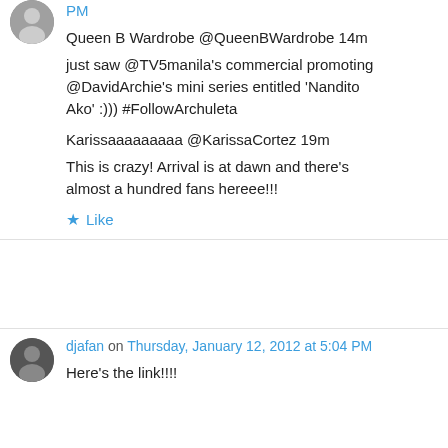PM
Queen B Wardrobe @QueenBWardrobe 14m
just saw @TV5manila’s commercial promoting @DavidArchie’s mini series entitled ‘Nandito Ako’ :))) #FollowArchuleta
Karissaaaaaaaaa @KarissaCortez 19m
This is crazy! Arrival is at dawn and there’s almost a hundred fans hereee!!!
★ Like
djafan on Thursday, January 12, 2012 at 5:04 PM
Here’s the link!!!!